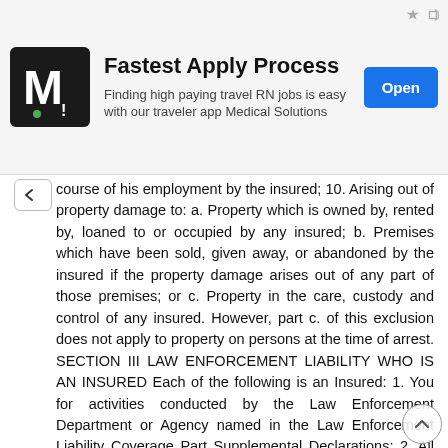[Figure (other): Advertisement banner: Medical Solutions - Fastest Apply Process. Logo with letter M, tagline 'Finding high paying travel RN jobs is easy with our traveler app Medical Solutions', Open button.]
course of his employment by the insured; 10. Arising out of property damage to: a. Property which is owned by, rented by, loaned to or occupied by any insured; b. Premises which have been sold, given away, or abandoned by the insured if the property damage arises out of any part of those premises; or c. Property in the care, custody and control of any insured. However, part c. of this exclusion does not apply to property on persons at the time of arrest. SECTION III LAW ENFORCEMENT LIABILITY WHO IS AN INSURED Each of the following is an Insured: 1. You for activities conducted by the Law Enforcement Department or Agency named in the Law Enforcement Liability Coverage Part Supplemental Declarations; 2. All of your full or part-time employees and all persons who were, now are, or will be your lawfully elected, appointed or employed officials with respect to liability arising out of law enforcement activities ; 3. All auxiliary and volunteer law enforcement officers who serve